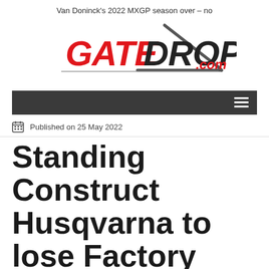Van Doninck's 2022 MXGP season over – no
[Figure (logo): GateDrop.com logo with diagonal lines]
[Figure (other): Dark navigation bar with hamburger menu icon]
Published on 25 May 2022
Standing Construct Husqvarna to lose Factory status in 2023 – Bogers and